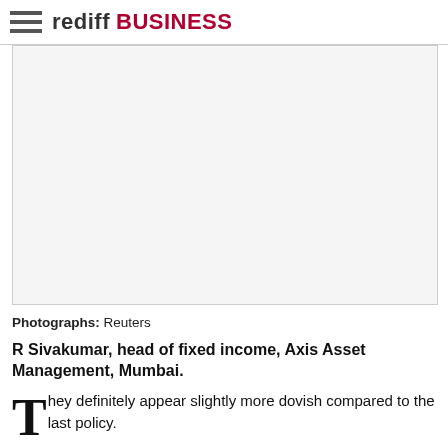rediff BUSINESS
[Figure (photo): Photograph placeholder - image of R Sivakumar, head of fixed income, Axis Asset Management, Mumbai]
Photographs: Reuters
R Sivakumar, head of fixed income, Axis Asset Management, Mumbai.
They definitely appear slightly more dovish compared to the last policy.